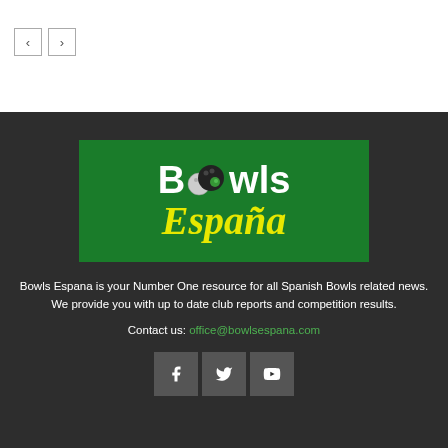[Figure (other): Navigation previous/next arrow buttons]
[Figure (logo): Bowls España logo — green background with white bold text 'Bowls' (with bowling ball replacing letter 'o') and yellow italic script 'España' below]
Bowls Espana is your Number One resource for all Spanish Bowls related news. We provide you with up to date club reports and competition results.
Contact us: office@bowlsespana.com
[Figure (other): Social media icons: Facebook, Twitter, YouTube]